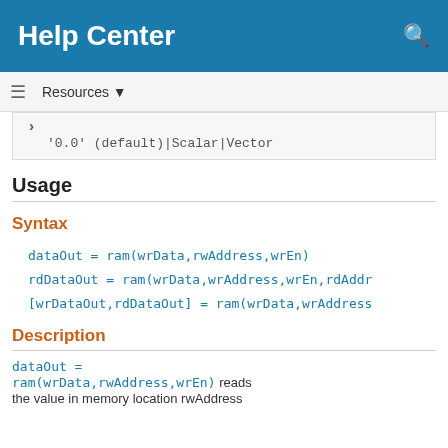Help Center
Resources ▼
'0.0' (default) | Scalar | Vector
Usage
Syntax
dataOut = ram(wrData,rwAddress,wrEn)
rdDataOut = ram(wrData,wrAddress,wrEn,rdAddr
[wrDataOut,rdDataOut] = ram(wrData,wrAddress
Description
dataOut = ram(wrData,rwAddress,wrEn) reads the value in memory location rwAddress